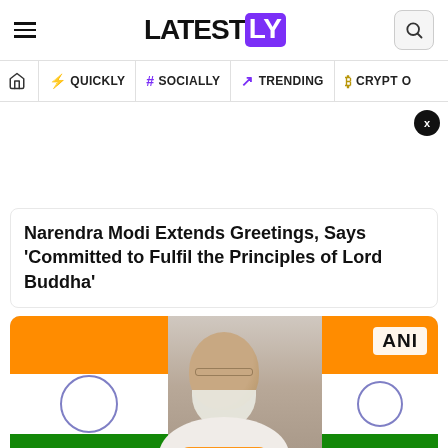LATELY (logo)
Navigation: Home | QUICKLY | # SOCIALLY | TRENDING | CRYPTO
Narendra Modi Extends Greetings, Says ‘Committed to Fulfil the Principles of Lord Buddha’
[Figure (photo): Photo of Narendra Modi with Indian flags in background, ANI watermark in top right corner]